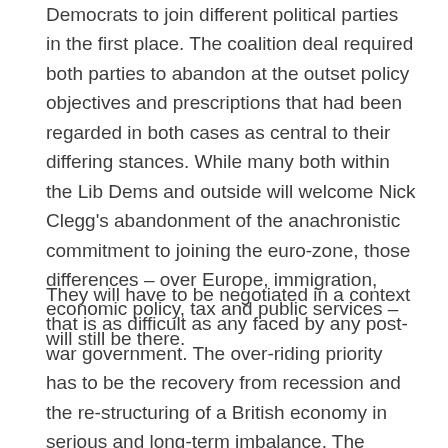Democrats to join different political parties in the first place. The coalition deal required both parties to abandon at the outset policy objectives and prescriptions that had been regarded in both cases as central to their differing stances. While many both within the Lib Dems and outside will welcome Nick Clegg's abandonment of the anachronistic commitment to joining the euro-zone, those differences – over Europe, immigration, economic policy, tax and public services – will still be there.
They will have to be negotiated in a context that is as difficult as any faced by any post-war government. The over-riding priority has to be the recovery from recession and the re-structuring of a British economy in serious and long-term imbalance. The immediate policy issue to be resolved is the response to be made to the government deficit – itself, ironically, the consequence of the massive failures of the